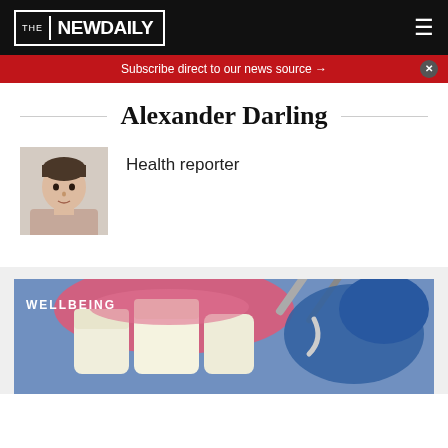THE NEWDAILY
Subscribe direct to our news source →
Alexander Darling
[Figure (photo): Headshot photo of Alexander Darling, a young man with short dark hair against a light background]
Health reporter
[Figure (photo): Close-up dental procedure photo showing teeth and a dental tool with blue gloved hand, with WELLBEING tag overlay]